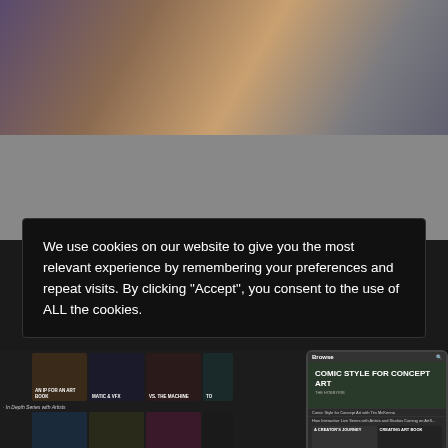[Figure (illustration): Digital painting showing anime-style characters in colorful outfit, partially visible at top of page]
[Figure (screenshot): Website screenshot showing art tutorial platform with grid of video thumbnails including titles like 'AN IP FOR AN ART BOOK', 'MATIC & VFX', 'VS. THE MACHINE', 'FINDING YOUR WAY IN DIGITAL PAINTING', 'ENVIRONEMENT CONCEPT ART FOR MOVIES AND GAMES', 'FICTIONAL WOR CREATION', and a mobile phone overlay showing 'COMIC STYLE FOR CONCEPT ART']
We use cookies on our website to give you the most relevant experience by remembering your preferences and repeat visits. By clicking “Accept”, you consent to the use of ALL the cookies.